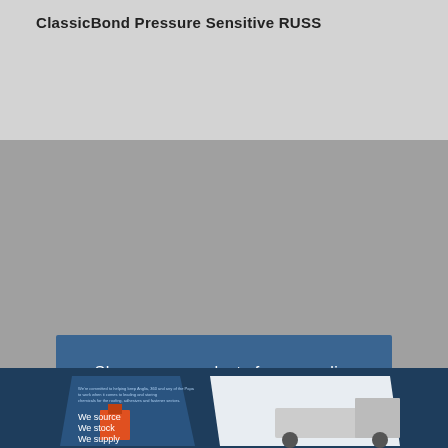ClassicBond Pressure Sensitive RUSS
Show more products from supplier
[Figure (photo): A marketing brochure cover for a supplier showing a delivery truck, a building, and the text 'We source We stock We supply' on a dark navy background.]